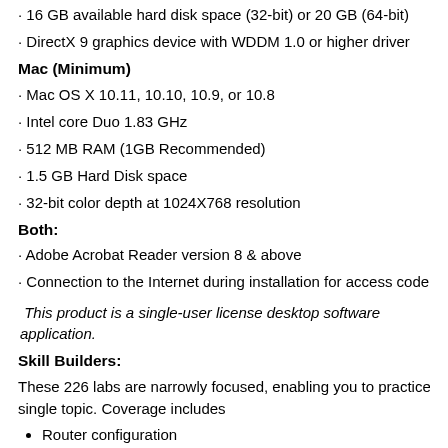16 GB available hard disk space (32-bit) or 20 GB (64-bit)
DirectX 9 graphics device with WDDM 1.0 or higher driver
Mac (Minimum)
Mac OS X 10.11, 10.10, 10.9, or 10.8
Intel core Duo 1.83 GHz
512 MB RAM (1GB Recommended)
1.5 GB Hard Disk space
32-bit color depth at 1024X768 resolution
Both:
Adobe Acrobat Reader version 8 & above
Connection to the Internet during installation for access code validation
This product is a single-user license desktop software application.
Skill Builders:
These 226 labs are narrowly focused, enabling you to practice your co single topic. Coverage includes
Router configuration